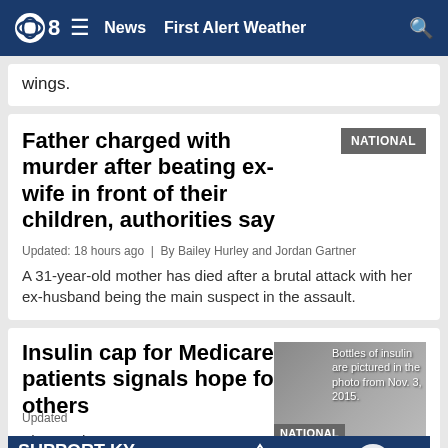CBS 8 | News  First Alert Weather
wings.
Father charged with murder after beating ex-wife in front of their children, authorities say
NATIONAL
Updated: 18 hours ago  |  By Bailey Hurley and Jordan Gartner
A 31-year-old mother has died after a brutal attack with her ex-husband being the main suspect in the assault.
Insulin cap for Medicare patients signals hope for others
[Figure (photo): Bottles of insulin are pictured in the photo from Nov. 3, 2015.]
NATIONAL
Updated
The re... he
[Figure (infographic): Advertisement banner: SUPPORT KY FLOOD RELIEF | Appalachia Rises | Gray Television logo]